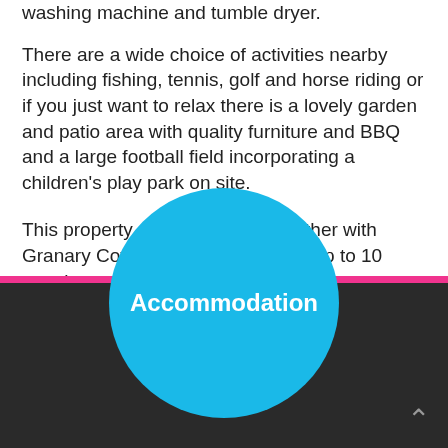washing machine and tumble dryer.
There are a wide choice of activities nearby including fishing, tennis, golf and horse riding or if you just want to relax there is a lovely garden and patio area with quality furniture and BBQ and a large football field incorporating a children's play park on site.
This property can be booked together with Granary Cottage to accommodate up to 10 people.
Visit Website
Accommodation